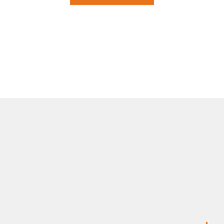[Figure (logo): Orange horizontal bar/button element at top center of page]
[Figure (logo): Accure logo: stylized X shape made of four rounded black bars arranged in an X/asterisk pattern, on a light grey background]
About Accure